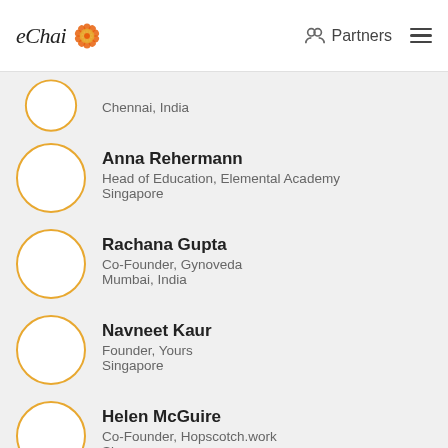eChai — Partners
Chennai, India
Anna Rehermann
Head of Education, Elemental Academy
Singapore
Rachana Gupta
Co-Founder, Gynoveda
Mumbai, India
Navneet Kaur
Founder, Yours
Singapore
Helen McGuire
Co-Founder, Hopscotch.work
Singapore
Yosha Gupta
Founder, MeMeraki
Hong Kong
Saumya Gupta